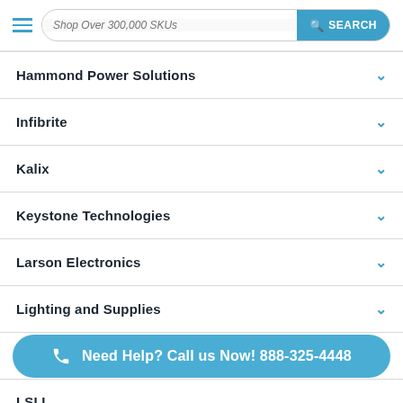Shop Over 300,000 SKUs | SEARCH
Hammond Power Solutions
Infibrite
Kalix
Keystone Technologies
Larson Electronics
Lighting and Supplies
Litetronics
LSI L...
Need Help? Call us Now! 888-325-4448